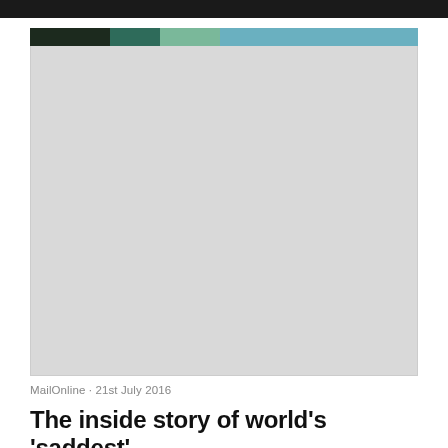[Figure (photo): A partially loaded or placeholder image with a colorful strip at the top (dark green, teal, light green, blue) and a large grey placeholder body below.]
MailOnline · 21st July 2016
The inside story of world's 'saddest'